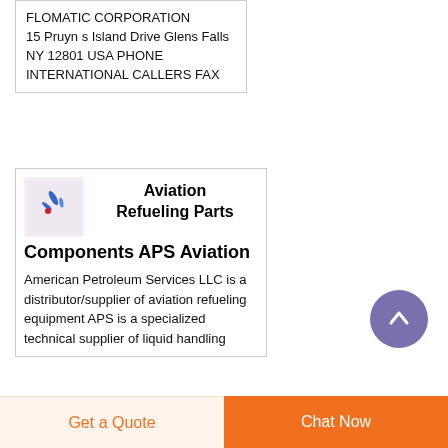FLOMATIC CORPORATION 15 Pruyn s Island Drive Glens Falls NY 12801 USA PHONE INTERNATIONAL CALLERS FAX
[Figure (logo): Small aviation/plane logo image with blue and red graphic elements on a light purple background]
Aviation Refueling Parts Components APS Aviation
American Petroleum Services LLC is a distributor/supplier of aviation refueling equipment APS is a specialized technical supplier of liquid handling
Get a Quote
Chat Now